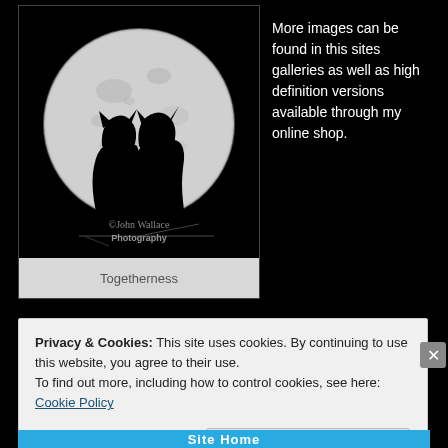[Figure (photo): Black and white photograph of two cat silhouettes sitting together in front of a large full moon against a black background, with watermark text '©John Wallace Photography']
Togetherness
More images can be found in this sites galleries as well as high definition versions available through my online shop.
Privacy & Cookies: This site uses cookies. By continuing to use this website, you agree to their use.
To find out more, including how to control cookies, see here: Cookie Policy
Close and accept